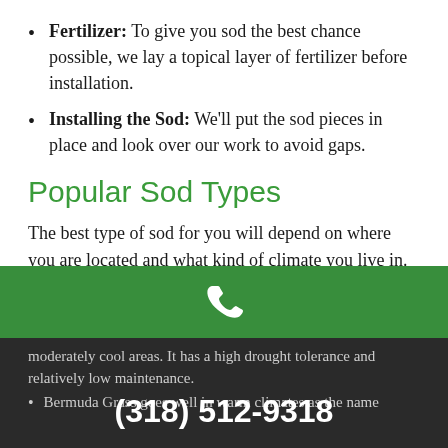Fertilizer: To give you sod the best chance possible, we lay a topical layer of fertilizer before installation.
Installing the Sod: We'll put the sod pieces in place and look over our work to avoid gaps.
Popular Sod Types
The best type of sod for you will depend on where you are located and what kind of climate you live in. Even within Monroe, some homes may be better suited to warm or cool climate grass due to their lawn's sub exposure. Some popular sod types include:
Kentucky Bluegrass is ideal for anyone living in a cool environment. The grass is pretty touch when it comes to a harsh winter freeze.
moderately cool areas. It has a high drought tolerance and relatively low maintenance.
Bermuda Grass goes well in warm climates as the name
(318) 512-9318